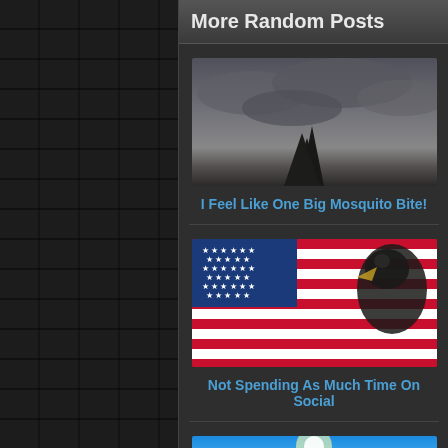More Random Posts
[Figure (photo): Dark moody sky with storm clouds and silhouettes of pine trees at bottom]
I Feel Like One Big Mosquito Bite!
[Figure (photo): American flag with bald eagle composite image]
Not Spending As Much Time On Social
[Figure (photo): Bright blue sky with clouds and sunlight]